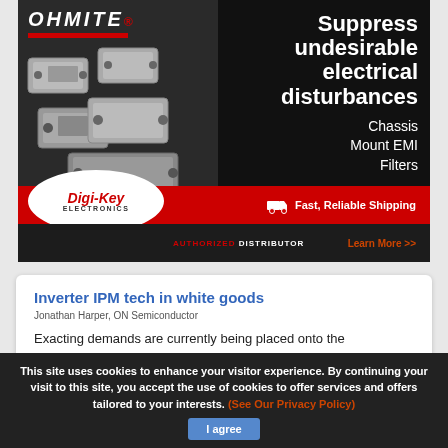[Figure (advertisement): Ohmite Chassis Mount EMI Filters advertisement with Digi-Key Electronics as authorized distributor. Text: Suppress undesirable electrical disturbances, Chassis Mount EMI Filters, Fast Reliable Shipping, Learn More >>]
Inverter IPM tech in white goods
Jonathan Harper, ON Semiconductor
Exacting demands are currently being placed onto the manufacturers of white goods, in what is an
This site uses cookies to enhance your visitor experience. By continuing your visit to this site, you accept the use of cookies to offer services and offers tailored to your interests. (See Our Privacy Policy)
I agree